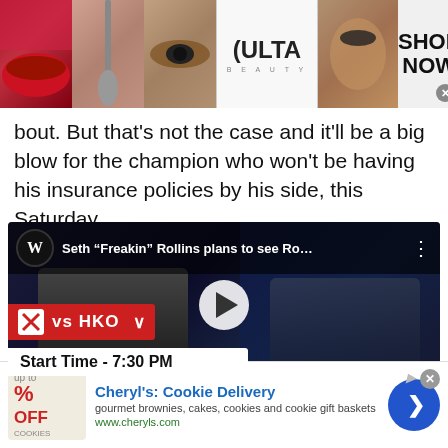[Figure (photo): Ulta Beauty advertisement banner at top of page showing makeup/cosmetics images, Ulta Beauty logo, and 'SHOP NOW' call to action button]
bout. But that's not the case and it'll be a big blow for the champion who won't be having his insurance policies by his side, this Saturday.
[Figure (screenshot): Embedded YouTube video thumbnail showing Seth 'Freakin' Rollins plans to see Ro... with WWE logo, two men in discussion, score overlay showing vs HKO and Start Time - 7:30 PM]
[Figure (photo): Advertisement for Cheryl's: Cookie Delivery - gourmet brownies, cakes, cookies and cookie gift baskets - www.cheryls.com]